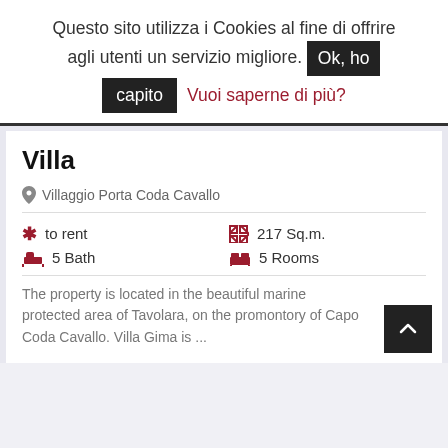Questo sito utilizza i Cookies al fine di offrire agli utenti un servizio migliore. Ok, ho capito   Vuoi saperne di più?
Villa
Villaggio Porta Coda Cavallo
to rent
217 Sq.m.
5 Bath
5 Rooms
The property is located in the beautiful marine protected area of Tavolara, on the promontory of Capo Coda Cavallo. Villa Gima is ...